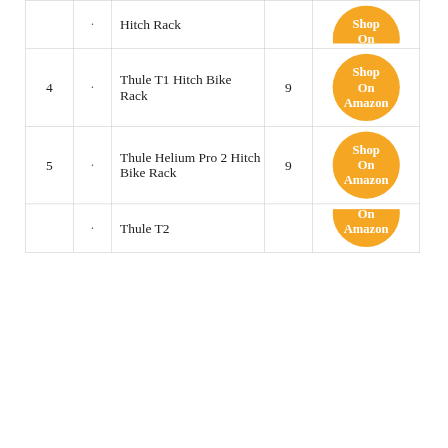| # |  | Product | Score | Action |
| --- | --- | --- | --- | --- |
|  | · | Hitch Rack |  | Shop On Amazon |
| 4 | · | Thule T1 Hitch Bike Rack | 9 | Shop On Amazon |
| 5 | · | Thule Helium Pro 2 Hitch Bike Rack | 9 | Shop On Amazon |
|  | · | Thule T2 |  | Shop |
We've scanned 37260 reviews for you. If you are looking for the than this review article may help you.
See Also:
» Whistle For Hiking